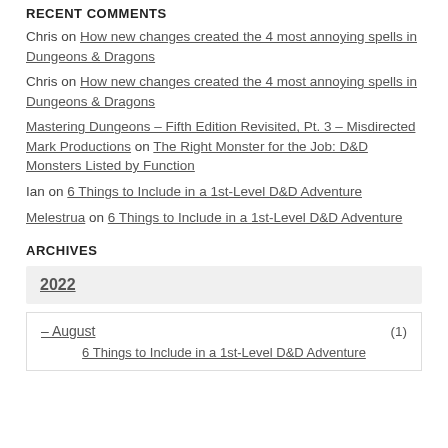RECENT COMMENTS
Chris on How new changes created the 4 most annoying spells in Dungeons & Dragons
Chris on How new changes created the 4 most annoying spells in Dungeons & Dragons
Mastering Dungeons – Fifth Edition Revisited, Pt. 3 – Misdirected Mark Productions on The Right Monster for the Job: D&D Monsters Listed by Function
Ian on 6 Things to Include in a 1st-Level D&D Adventure
Melestrua on 6 Things to Include in a 1st-Level D&D Adventure
ARCHIVES
2022
– August (1)
6 Things to Include in a 1st-Level D&D Adventure